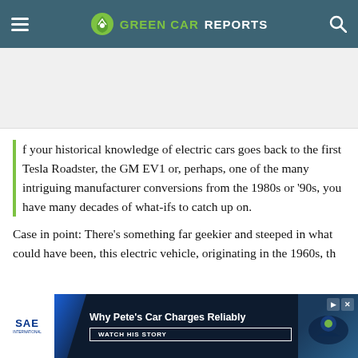GREEN CAR REPORTS
[Figure (screenshot): Gray advertisement placeholder area below header]
If your historical knowledge of electric cars goes back to the first Tesla Roadster, the GM EV1 or, perhaps, one of the many intriguing manufacturer conversions from the 1980s or ’90s, you have many decades of what-ifs to catch up on.
Case in point: There’s something far geekier and steeped in what could have been, this electric vehicle, originating in the 1960s, th
[Figure (screenshot): SAE advertisement banner: Why Pete's Car Charges Reliably - WATCH HIS STORY]